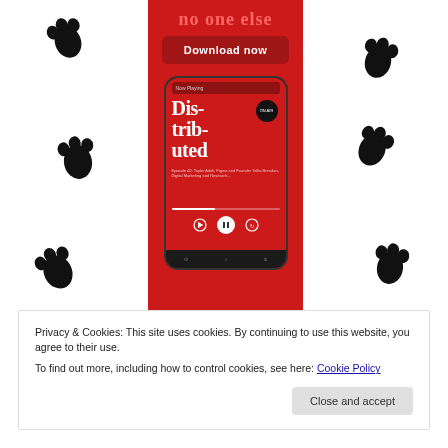[Figure (illustration): White background with black paw print pattern scattered across the page]
[Figure (screenshot): Red background mobile app advertisement showing a smartphone displaying a podcast app playing 'Distributed' episode, with a 'Download now' button at top]
Privacy & Cookies: This site uses cookies. By continuing to use this website, you agree to their use.
To find out more, including how to control cookies, see here: Cookie Policy
Close and accept